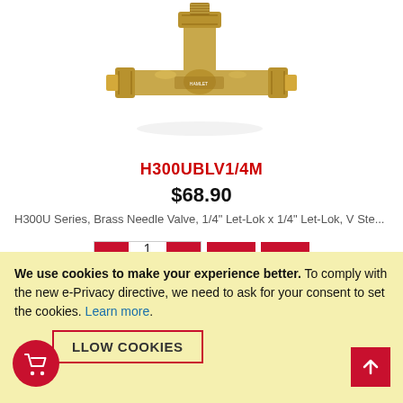[Figure (photo): Brass needle valve fitting, H300U series, T-shaped with hex fittings, Let-Lok compression connections]
H300UBLV1/4M
$68.90
H300U Series, Brass Needle Valve, 1/4" Let-Lok x 1/4" Let-Lok, V Ste...
[Figure (screenshot): Quantity selector with minus and plus buttons showing quantity 1, add to cart button, and bar chart/stock button]
We use cookies to make your experience better. To comply with the new e-Privacy directive, we need to ask for your consent to set the cookies. Learn more.
ALLOW COOKIES